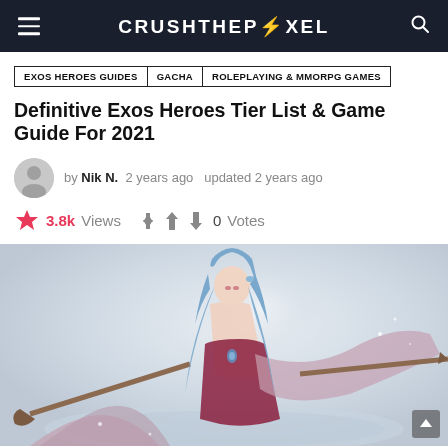CRUSHTHEPIXEL
EXOS HEROES GUIDES
GACHA
ROLEPLAYING & MMORPG GAMES
Definitive Exos Heroes Tier List & Game Guide For 2021
by Nik N.  2 years ago  updated 2 years ago
3.8k Views  0 Votes
[Figure (illustration): Anime-style illustration of a blue-haired female character in fantasy armor holding a large weapon, set against a pale grey background.]